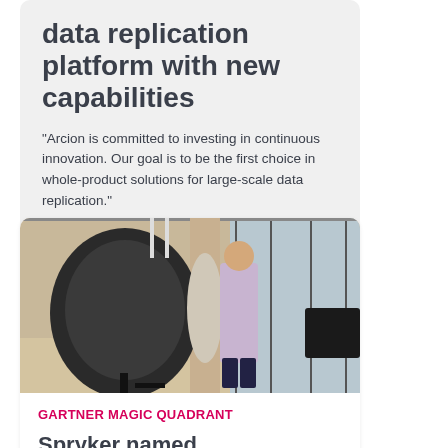data replication platform with new capabilities
"Arcion is committed to investing in continuous innovation. Our goal is to be the first choice in whole-product solutions for large-scale data replication."
[Figure (photo): A man in a light blue shirt standing in a modern office with large windows and a pod-shaped acoustic booth on the left.]
GARTNER MAGIC QUADRANT
Spryker named